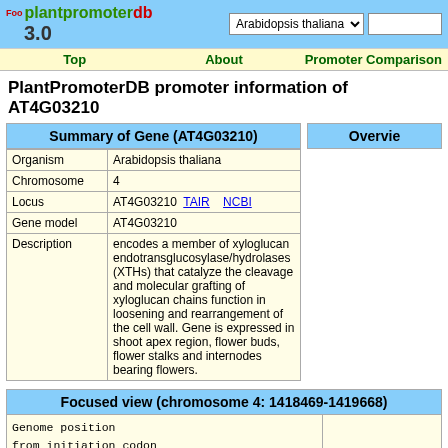plantpromoterdb 3.0 | Arabidopsis thaliana dropdown | search box | Top | About | Promoter Comparison
PlantPromoterDB promoter information of AT4G03210
Summary of Gene (AT4G03210)
Overvie
| Field | Value |
| --- | --- |
| Organism | Arabidopsis thaliana |
| Chromosome | 4 |
| Locus | AT4G03210  TAIR      NCBI |
| Gene model | AT4G03210 |
| Description | encodes a member of xyloglucan endotransglucosylase/hydrolases (XTHs) that catalyze the cleavage and molecular grafting of xyloglucan chains function in loosening and rearrangement of the cell wall. Gene is expressed in shoot apex region, flower buds, flower stalks and internodes bearing flowers. |
Focused view (chromosome 4: 1418469-1419668)
Genome position
from initiation codon
AT4G03220.1
TSS from cDNA
TSS information
AT4G03210                    5'->3' (+)